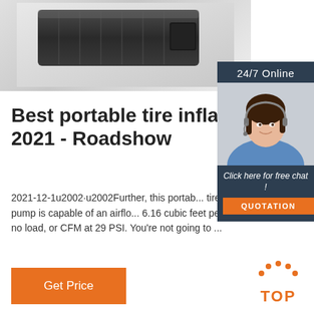[Figure (photo): Product photo of a black portable tire inflator/device, partially visible at top of page]
[Figure (photo): Advertisement sidebar widget: dark blue background with '24/7 Online' header, photo of a smiling woman with headset, 'Click here for free chat!' text, and orange QUOTATION button]
Best portable tire inflator 2021 - Roadshow
2021-12-1u2002·u2002Further, this portable tire inflator air pump is capable of an airflow 6.16 cubic feet per minute with no load, or CFM at 29 PSI. You're not going to ...
[Figure (other): Orange 'Get Price' button]
[Figure (logo): Orange 'TOP' logo with dotted arc above the text]